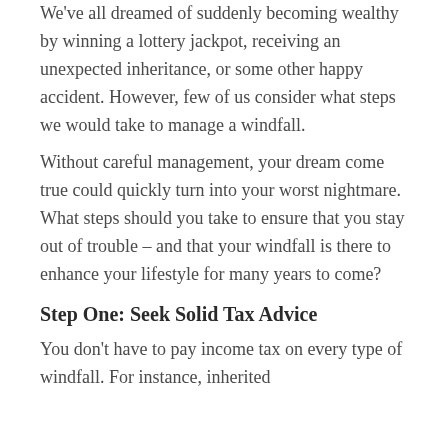We've all dreamed of suddenly becoming wealthy by winning a lottery jackpot, receiving an unexpected inheritance, or some other happy accident. However, few of us consider what steps we would take to manage a windfall.
Without careful management, your dream come true could quickly turn into your worst nightmare. What steps should you take to ensure that you stay out of trouble – and that your windfall is there to enhance your lifestyle for many years to come?
Step One: Seek Solid Tax Advice
You don't have to pay income tax on every type of windfall. For instance, inherited